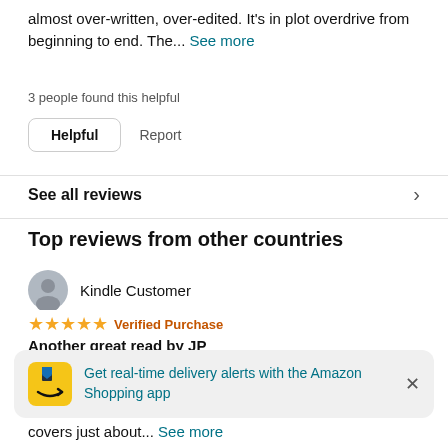almost over-written, over-edited. It's in plot overdrive from beginning to end. The... See more
3 people found this helpful
Helpful   Report
See all reviews
Top reviews from other countries
Kindle Customer
★★★★★ Verified Purchase
Another great read by JP
Reviewed in the United Kingdom on June 21, 2020
I do so love reading books by JP. He draws you into the novel
[Figure (screenshot): Amazon Shopping app notification toast: 'Get real-time delivery alerts with the Amazon Shopping app' with Amazon app icon and close button]
covers just about... See more